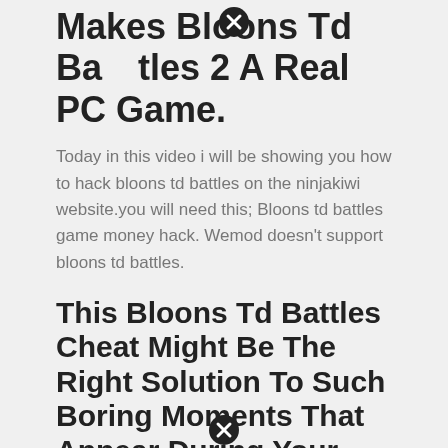Makes Bloons Td Battles 2 A Real PC Game.
Today in this video i will be showing you how to hack bloons td battles on the ninjakiwi website.you will need this; Bloons td battles game money hack. Wemod doesn't support bloons td battles.
This Bloons Td Battles Cheat Might Be The Right Solution To Such Boring Moments That Appear During Your Experience With The Game.
Download and play bloons td battles 2 on pc. There are several game modes in the bloons td battles 2 mod, and each mode has its own limitations and quirks. But i shall teach you the ways.